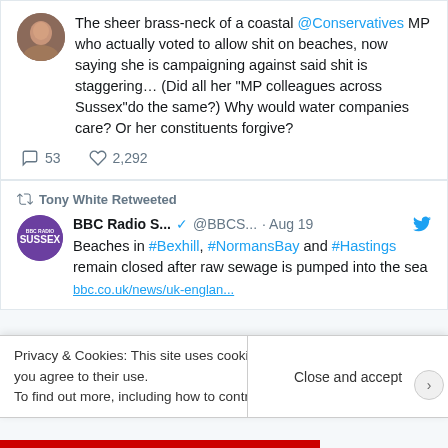The sheer brass-neck of a coastal @Conservatives MP who actually voted to allow shit on beaches, now saying she is campaigning against said shit is staggering… (Did all her "MP colleagues across Sussex"do the same?) Why would water companies care? Or her constituents forgive?
53  2,292
Tony White Retweeted
BBC Radio S... @BBCS... · Aug 19
Beaches in #Bexhill, #NormansBay and #Hastings remain closed after raw sewage is pumped into the sea
Privacy & Cookies: This site uses cookies. By continuing to use this website, you agree to their use. To find out more, including how to control cookies, see here: Close and accept